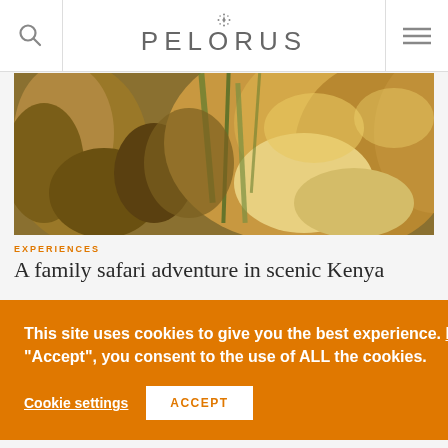PELORUS
[Figure (photo): Close-up photo of a lion or similar large cat with fur visible among green grass, taken on safari in Kenya]
EXPERIENCES
A family safari adventure in scenic Kenya
This site uses cookies to give you the best experience. Read More. By clicking "Accept", you consent to the use of ALL the cookies.
Cookie settings
ACCEPT